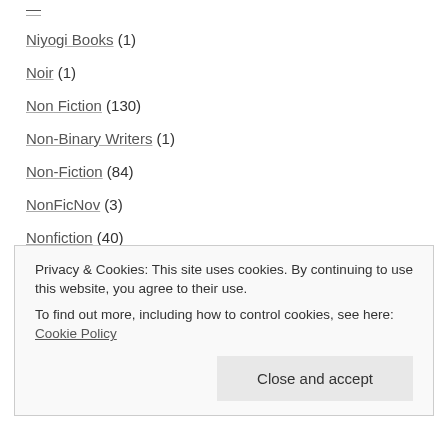Niyogi Books (1)
Noir (1)
Non Fiction (130)
Non-Binary Writers (1)
Non-Fiction (84)
NonFicNov (3)
Nonfiction (40)
NonfictionNovember (7)
NonfictionNovember2020 (3)
NonfictionNovember2021 (1)
Norwegian Literature (2)
Novella (31)
Privacy & Cookies: This site uses cookies. By continuing to use this website, you agree to their use. To find out more, including how to control cookies, see here: Cookie Policy
November 2022 Books (11)